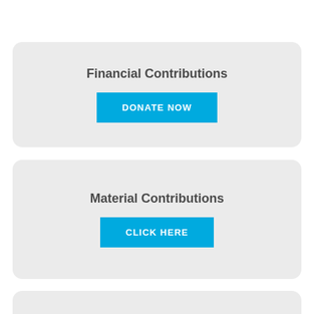Financial Contributions
DONATE NOW
Material Contributions
CLICK HERE
ENTER THE POLITICAL MALL